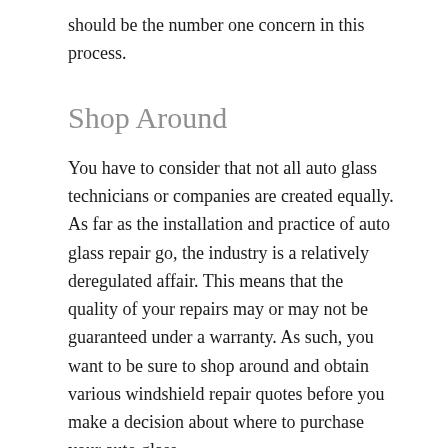should be the number one concern in this process.
Shop Around
You have to consider that not all auto glass technicians or companies are created equally. As far as the installation and practice of auto glass repair go, the industry is a relatively deregulated affair. This means that the quality of your repairs may or may not be guaranteed under a warranty. As such, you want to be sure to shop around and obtain various windshield repair quotes before you make a decision about where to purchase your auto glass.
The best way to do so is to visit several different auto glass websites in your area. A quick local search should bring up several options for you to consider, and many of them will allow you to obtain a quote on the fly or fill